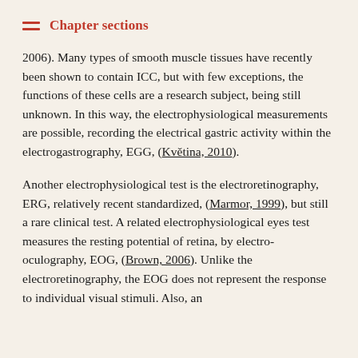Chapter sections
2006). Many types of smooth muscle tissues have recently been shown to contain ICC, but with few exceptions, the functions of these cells are a research subject, being still unknown. In this way, the electrophysiological measurements are possible, recording the electrical gastric activity within the electrogastrography, EGG, (Květina, 2010).
Another electrophysiological test is the electroretinography, ERG, relatively recent standardized, (Marmor, 1999), but still a rare clinical test. A related electrophysiological eyes test measures the resting potential of retina, by electro-oculography, EOG, (Brown, 2006). Unlike the electroretinography, the EOG does not represent the response to individual visual stimuli. Also, an